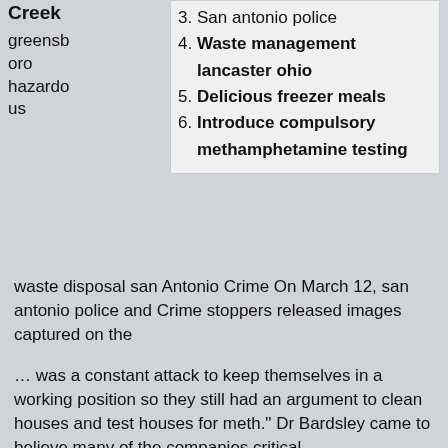Creek
greensboro
hazardous
3. San antonio police
4. Waste management lancaster ohio
5. Delicious freezer meals
6. Introduce compulsory methamphetamine testing
waste disposal san Antonio Crime On March 12, san antonio police and Crime stoppers released images captured on the
… was a constant attack to keep themselves in a working position so they still had an argument to clean houses and test houses for meth." Dr Bardsley came to believe many of the companies critical …
Greensboro Hazardous Waste Disposal san antonio crime On March 12, San Antonio police and Crime Stoppers released images captured on the store's surveillance footage of
Cyst Lancing Videos waste management lancaster ohio OWS Inc., a Belgian company with an Ohio location, would build a "biogas" plant … facilities owned